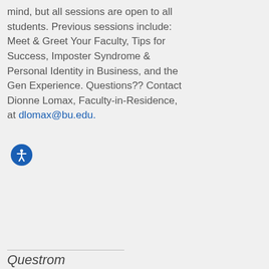mind, but all sessions are open to all students. Previous sessions include: Meet & Greet Your Faculty, Tips for Success, Imposter Syndrome & Personal Identity in Business, and the Gen Experience. Questions?? Contact Dionne Lomax, Faculty-in-Residence, at dlomax@bu.edu.
Questrom